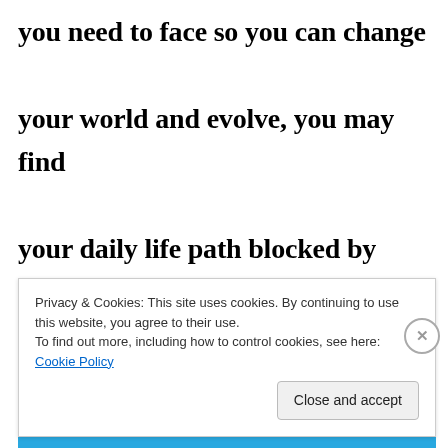you need to face so you can change your world and evolve, you may find your daily life path blocked by “lessons”.  It really, truly is time to sweep away illusions!
Privacy & Cookies: This site uses cookies. By continuing to use this website, you agree to their use.
To find out more, including how to control cookies, see here: Cookie Policy